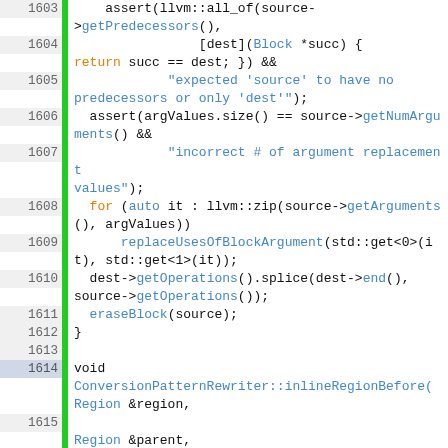[Figure (screenshot): Source code listing in C++ showing lines 1603–1621 of a file, with syntax highlighting. Keywords in orange/blue, function names in blue, string literals in blue. Line numbers shown in left gutter with green separator bar.]